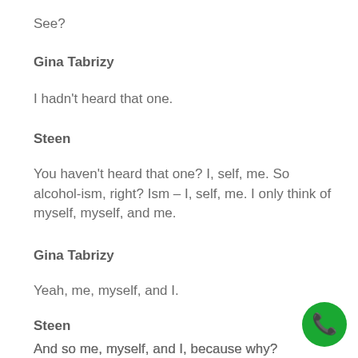See?
Gina Tabrizy
I hadn't heard that one.
Steen
You haven't heard that one? I, self, me. So alcohol-ism, right? Ism – I, self, me. I only think of myself, myself, and me.
Gina Tabrizy
Yeah, me, myself, and I.
Steen
And so me, myself, and I, because why? Because you're trying to survive. What are you trying to survive? And that
[Figure (illustration): Green circular phone/call button icon in bottom right corner]